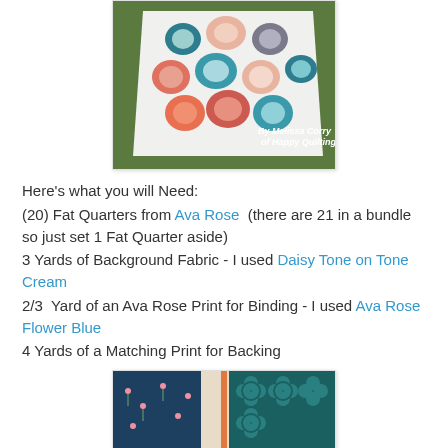[Figure (photo): A quilt laid out on grass featuring flower/hexagon applique blocks in teal, coral, pink, and grey tones on a white background. Watermark reads 'By Melissa Corry of Happy Quilting'.]
Here's what you will Need:
(20) Fat Quarters from Ava Rose  (there are 21 in a bundle so just set 1 Fat Quarter aside)
3 Yards of Background Fabric - I used Daisy Tone on Tone Cream
2/3  Yard of an Ava Rose Print for Binding - I used Ava Rose Flower Blue
4 Yards of a Matching Print for Backing
[Figure (photo): Close-up photo of teal/navy fabric fat quarters with floral and geometric patterns, including an orange/coral binding strip.]